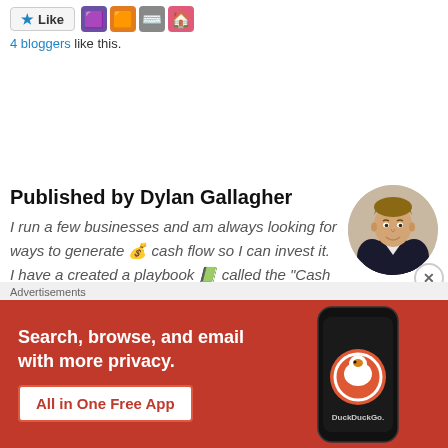[Figure (other): Like button with star icon and blogger avatar icons]
4 bloggers like this.
Published by Dylan Gallagher
I run a few businesses and am always looking for ways to generate 💰 cash flow so I can invest it. I have a created a playbook 📗 called the "Cash Flow Quadrant for Business Owners" that has served me well and might be able to help you build cash in your
[Figure (photo): Circular headshot photo of Dylan Gallagher, man in dark suit]
Advertisements
[Figure (other): DuckDuckGo advertisement banner: Search, browse, and email with more privacy. All in One Free App. Shows a phone with DuckDuckGo logo.]